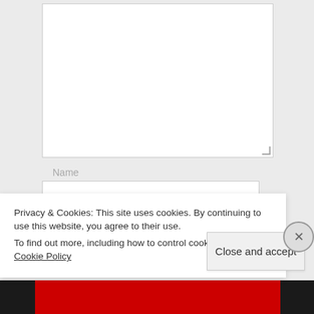[Figure (screenshot): A web form with a large textarea input at the top, a Name label, and a Name text input field below. The background is light gray.]
Name
Privacy & Cookies: This site uses cookies. By continuing to use this website, you agree to their use.
To find out more, including how to control cookies, see here: Cookie Policy
Close and accept